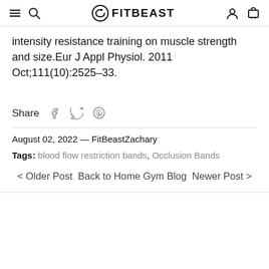FITBEAST
intensity resistance training on muscle strength and size.Eur J Appl Physiol. 2011 Oct;111(10):2525-33.
Share
August 02, 2022 — FitBeastZachary
Tags: blood flow restriction bands, Occlusion Bands
< Older Post Back to Home Gym Blog Newer Post >